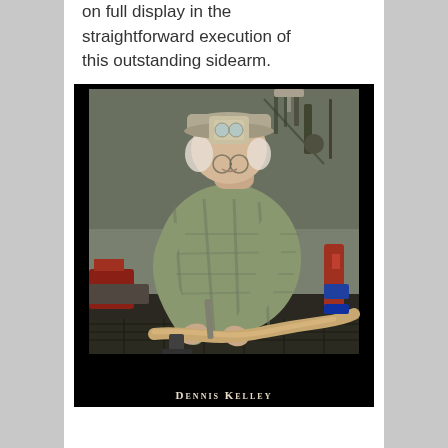on full display in the straightforward execution of this outstanding sidearm.
[Figure (photo): Elderly man wearing a cap and magnifying headgear, bent over working on a rifle stock in a workshop filled with tools. Photo has a black border and caption at bottom.]
Dennis Kelley